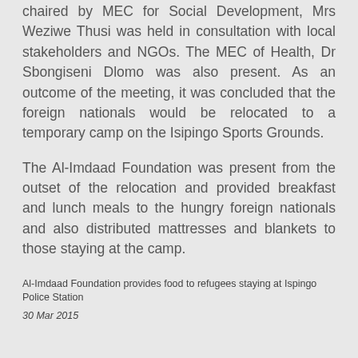On Thursday the 2nd of April, a briefing meeting chaired by MEC for Social Development, Mrs Weziwe Thusi was held in consultation with local stakeholders and NGOs. The MEC of Health, Dr Sbongiseni Dlomo was also present. As an outcome of the meeting, it was concluded that the foreign nationals would be relocated to a temporary camp on the Isipingo Sports Grounds.
The Al-Imdaad Foundation was present from the outset of the relocation and provided breakfast and lunch meals to the hungry foreign nationals and also distributed mattresses and blankets to those staying at the camp.
Al-Imdaad Foundation provides food to refugees staying at Ispingo Police Station
30 Mar 2015